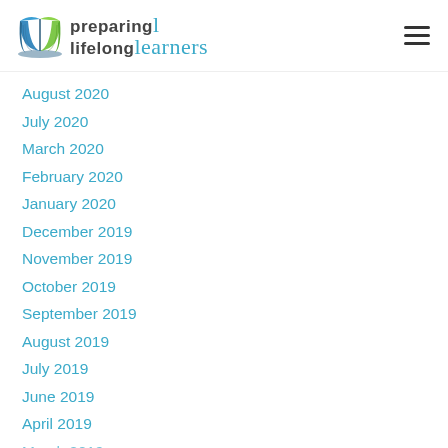preparing lifelong learners
August 2020
July 2020
March 2020
February 2020
January 2020
December 2019
November 2019
October 2019
September 2019
August 2019
July 2019
June 2019
April 2019
March 2019